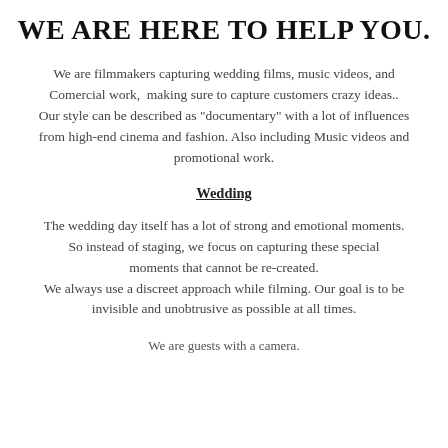WE ARE HERE TO HELP YOU.
We are filmmakers capturing wedding films, music videos, and Comercial work,  making sure to capture customers crazy ideas.. Our style can be described as "documentary" with a lot of influences from high-end cinema and fashion. Also including Music videos and promotional work.
Wedding
The wedding day itself has a lot of strong and emotional moments. So instead of staging, we focus on capturing these special moments that cannot be re-created. We always use a discreet approach while filming. Our goal is to be invisible and unobtrusive as possible at all times.
We are guests with a camera.